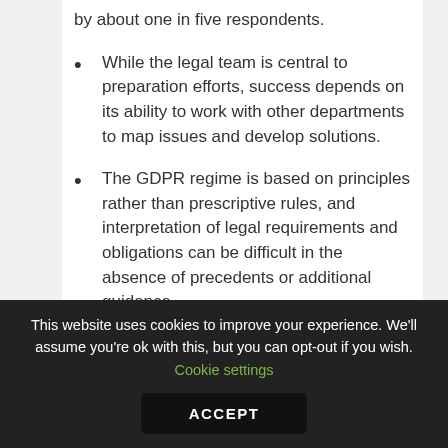organisation was named as the top challenge by about one in five respondents.
While the legal team is central to preparation efforts, success depends on its ability to work with other departments to map issues and develop solutions.
The GDPR regime is based on principles rather than prescriptive rules, and interpretation of legal requirements and obligations can be difficult in the absence of precedents or additional guidance.
This website uses cookies to improve your experience. We'll assume you're ok with this, but you can opt-out if you wish. Cookie settings
ACCEPT